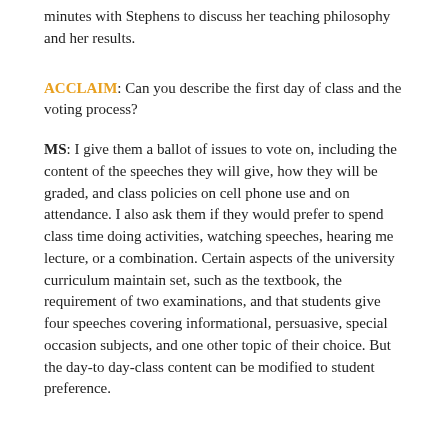minutes with Stephens to discuss her teaching philosophy and her results.
ACCLAIM: Can you describe the first day of class and the voting process?
MS: I give them a ballot of issues to vote on, including the content of the speeches they will give, how they will be graded, and class policies on cell phone use and on attendance. I also ask them if they would prefer to spend class time doing activities, watching speeches, hearing me lecture, or a combination. Certain aspects of the university curriculum maintain set, such as the textbook, the requirement of two examinations, and that students give four speeches covering informational, persuasive, special occasion subjects, and one other topic of their choice. But the day-to day-class content can be modified to student preference.